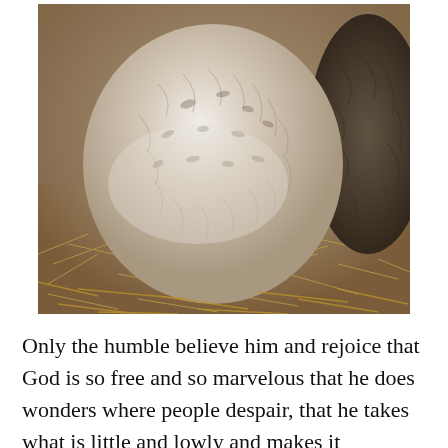[Figure (photo): Close-up photograph of a white and brown speckled hen sitting on straw/hay bedding in a nest. Another darker bird is partially visible on the right side.]
Only the humble believe him and rejoice that God is so free and so marvelous that he does wonders where people despair, that he takes what is little and lowly and makes it marvelous. And that is the wonder of all wonders, that God